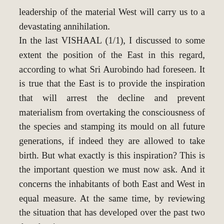leadership of the material West will carry us to a devastating annihilation.

In the last VISHAAL (1/1), I discussed to some extent the position of the East in this regard, according to what Sri Aurobindo had foreseen. It is true that the East is to provide the inspiration that will arrest the decline and prevent materialism from overtaking the consciousness of the species and stamping its mould on all future generations, if indeed they are allowed to take birth. But what exactly is this inspiration? This is the important question we must now ask. And it concerns the inhabitants of both East and West in equal measure. At the same time, by reviewing the situation that has developed over the past two decades, in